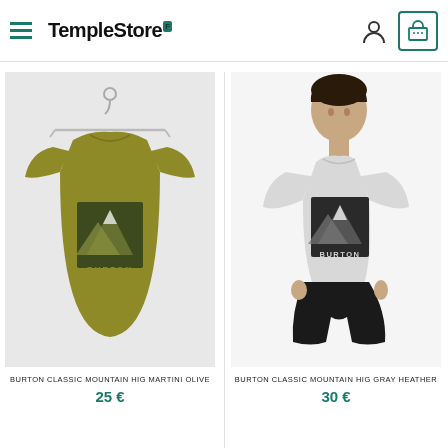TempleStore
[Figure (photo): Olive/mustard green Burton Classic Mountain High t-shirt hung on a white hanger against a light gray background. The shirt features a dark green square graphic with mountain silhouette and BURTON text.]
BURTON CLASSIC MOUNTAIN HIG MARTINI OLIVE
25 €
[Figure (photo): Young man wearing a light gray Burton Classic Mountain High t-shirt with a black square mountain graphic and BURTON text, against a white background.]
BURTON CLASSIC MOUNTAIN HIG GRAY HEATHER
30 €